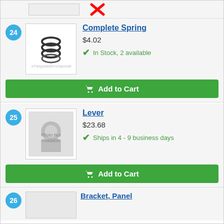[Figure (other): Partial top row showing a discontinued item with red X mark]
24
[Figure (photo): Small coil spring on white background]
Complete Spring
$4.02
In Stock, 2 available
Add to Cart
25
[Figure (photo): Photo Not Available placeholder image]
Lever
$23.68
Ships in 4 - 9 business days
Add to Cart
26
Bracket, Panel